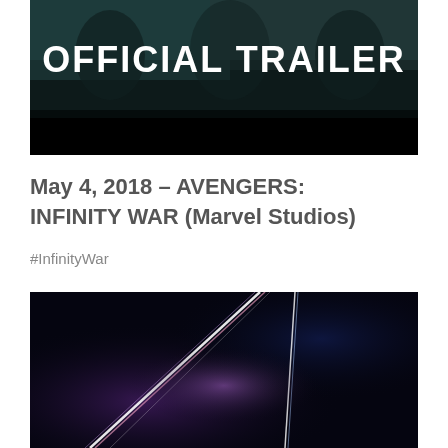[Figure (screenshot): Movie trailer thumbnail with dark teal/green background featuring figures, large white text reading 'OFFICIAL TRAILER', with black bar at bottom]
May 4, 2018 – AVENGERS: INFINITY WAR (Marvel Studios)
#InfinityWar
[Figure (screenshot): Dark movie poster/image with abstract light beams in purple/pink and blue against a very dark background, suggesting the Avengers: Infinity War movie aesthetic]